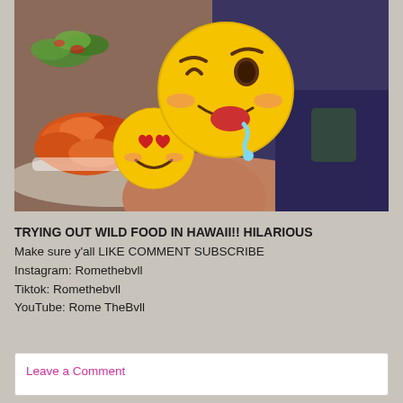[Figure (photo): Photo of a person looking down at a plate of orange/red cooked food (possibly Hawaiian poke or shrimp), with two large emoji overlaid: a smiling face with heart eyes emoji and a drooling/yum face emoji. The background shows the person wearing a dark blue shirt.]
TRYING OUT WILD FOOD IN HAWAII!! HILARIOUS
Make sure y'all LIKE COMMENT SUBSCRIBE
Instagram: Romethebvll
Tiktok: Romethebvll
YouTube: Rome TheBvll
Leave a Comment